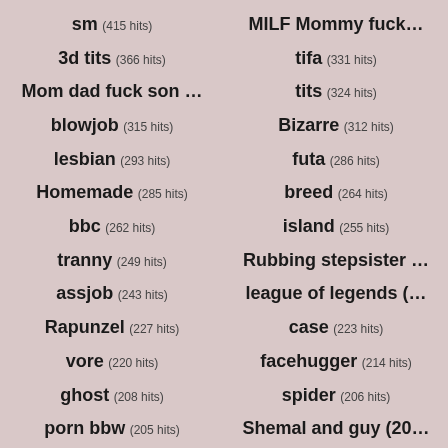sm (415 hits)
MILF Mommy fuck…
3d tits (366 hits)
tifa (331 hits)
Mom dad fuck son …
tits (324 hits)
blowjob (315 hits)
Bizarre (312 hits)
lesbian (293 hits)
futa (286 hits)
Homemade (285 hits)
breed (264 hits)
bbc (262 hits)
island (255 hits)
tranny (249 hits)
Rubbing stepsister …
assjob (243 hits)
league of legends (…
Rapunzel (227 hits)
case (223 hits)
vore (220 hits)
facehugger (214 hits)
ghost (208 hits)
spider (206 hits)
porn bbw (205 hits)
Shemal and guy (20…